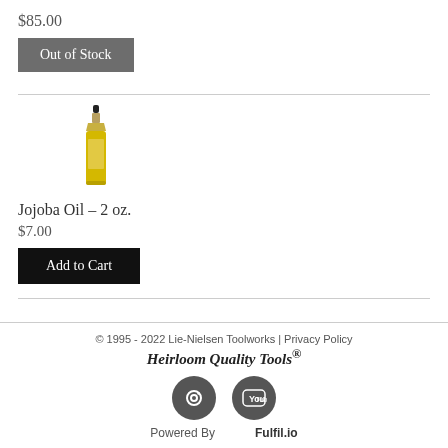$85.00
Out of Stock
[Figure (illustration): Small yellow jojoba oil bottle with dropper cap]
Jojoba Oil - 2 oz.
$7.00
Add to Cart
© 1995 - 2022 Lie-Nielsen Toolworks | Privacy Policy
Heirloom Quality Tools®
Powered By   Fulfil.io